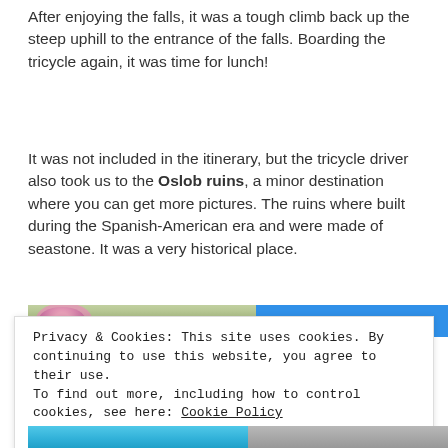After enjoying the falls, it was a tough climb back up the steep uphill to the entrance of the falls. Boarding the tricycle again, it was time for lunch!
It was not included in the itinerary, but the tricycle driver also took us to the Oslob ruins, a minor destination where you can get more pictures. The ruins where built during the Spanish-American era and were made of seastone. It was a very historical place.
[Figure (photo): Partial view of a photo showing a pink flower or similar object on the left and a blue sky or surface on the right.]
Privacy & Cookies: This site uses cookies. By continuing to use this website, you agree to their use.
To find out more, including how to control cookies, see here: Cookie Policy
Close and accept
[Figure (photo): Bottom strip showing two images partially visible: a cyan/blue image on the left and a gray image on the right.]